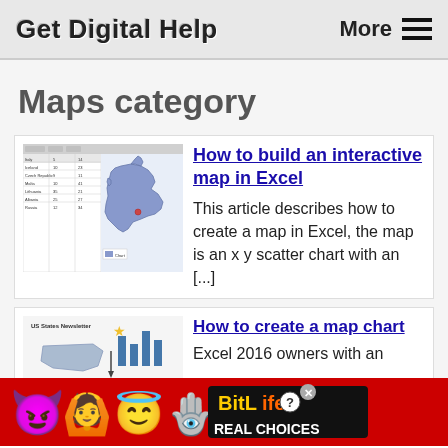Get Digital Help  More ≡
Maps category
[Figure (screenshot): Screenshot of an Excel spreadsheet showing a Europe map chart with country data in a table on the left and a blue-shaded map of Europe on the right]
How to build an interactive map in Excel
This article describes how to create a map in Excel, the map is an x y scatter chart with an [...]
[Figure (screenshot): Partial screenshot of a map chart tutorial page showing a partial map image]
How to create a map chart
Excel 2016 owners with an
[Figure (advertisement): BitLife Real Choices advertisement banner with colorful emoji characters on red background]